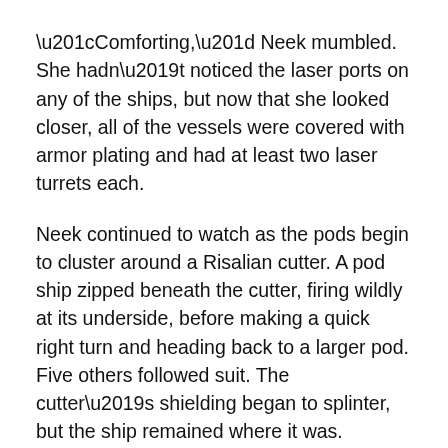“Comforting,” Neek mumbled. She hadn’t noticed the laser ports on any of the ships, but now that she looked closer, all of the vessels were covered with armor plating and had at least two laser turrets each.
Neek continued to watch as the pods begin to cluster around a Risalian cutter. A pod ship zipped beneath the cutter, firing wildly at its underside, before making a quick right turn and heading back to a larger pod. Five others followed suit. The cutter’s shielding began to splinter, but the ship remained where it was.
Neek leaned into the viewscreen, still unsure what she was seeing. “The Risalian ships aren’t chasing, they’re just defending. What is going on? If they’re going to appoint themselves sheriffs of the Charted Systems, they could at least fight back.”